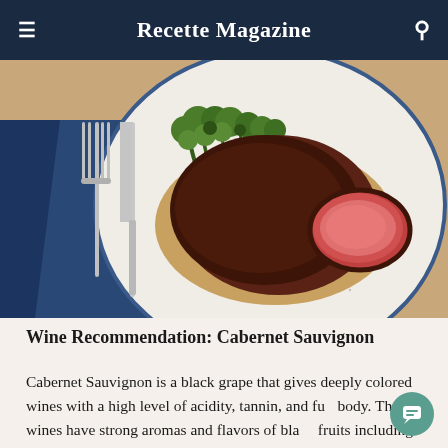Recette Magazine
[Figure (photo): Overhead view of a white speckled plate with a seared beef fillet sliced to show pink interior, served on a bed of farro grain, with roasted broccolini. A silver fork and knife rest on a navy blue napkin to the left.]
Wine Recommendation: Cabernet Sauvignon
Cabernet Sauvignon is a black grape that gives deeply colored wines with a high level of acidity, tannin, and full body. These wines have strong aromas and flavors of black fruits including black cherry, black currant, and black